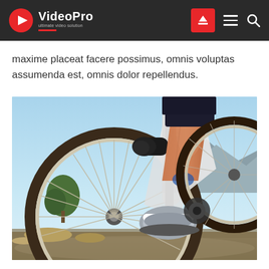VideoPro – ultimate video solution
maxime placeat facere possimus, omnis voluptas assumenda est, omnis dolor repellendus.
[Figure (photo): Close-up low-angle photo of a cyclist's legs on a mountain bike, with a large front wheel in the foreground, blue sky and mountainous landscape in the background.]